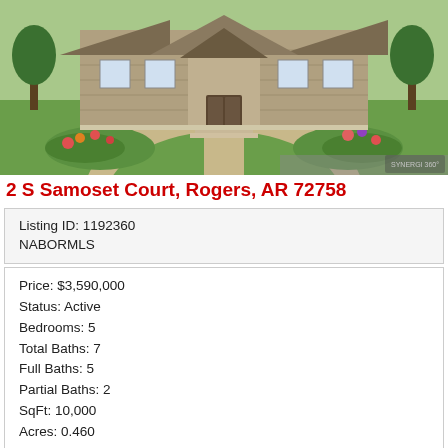[Figure (photo): Aerial/front view of a large stone estate home with manicured lawn, circular driveway, and landscaped gardens]
2 S Samoset Court, Rogers, AR 72758
| Listing ID: 1192360 |
| NABORMLS |
Price: $3,590,000
Status: Active
Bedrooms: 5
Total Baths: 7
Full Baths: 5
Partial Baths: 2
SqFt: 10,000
Acres: 0.460
Subdivision: Pinnacle
Impressive estate celebrating Old-World architecture located in the distinguished Pinnacle Country Club overlooking the 12th, 14th and signature 15th island holes. The 10,000 square foot